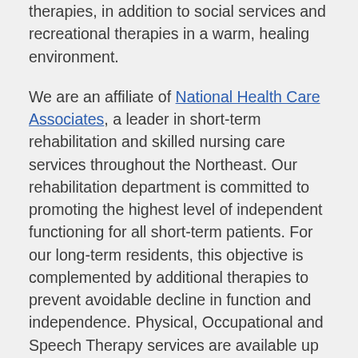therapies, in addition to social services and recreational therapies in a warm, healing environment.

We are an affiliate of National Health Care Associates, a leader in short-term rehabilitation and skilled nursing care services throughout the Northeast. Our rehabilitation department is committed to promoting the highest level of independent functioning for all short-term patients. For our long-term residents, this objective is complemented by additional therapies to prevent avoidable decline in function and independence. Physical, Occupational and Speech Therapy services are available up to 7 days per week, as needed and prescribed by a physician. All therapy services are individually designed based upon the